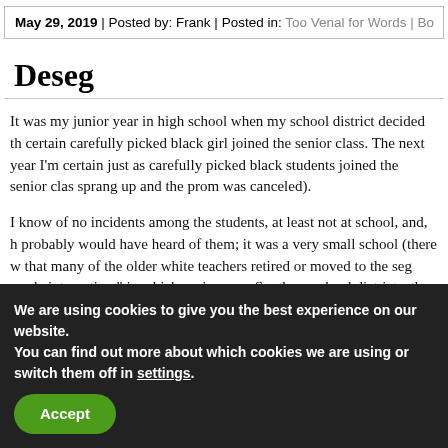May 29, 2019 | Posted by: Frank | Posted in: Too Venal for Words | Bo
Deseg
It was my junior year in high school when my school district decided th certain carefully picked black girl joined the senior class. The next year I'm certain just as carefully picked black students joined the senior clas sprang up and the prom was canceled).
I know of no incidents among the students, at least not at school, and, h probably would have heard of them; it was a very small school (there w that many of the older white teachers retired or moved to the seg acade integration," in which, as in many Southern school districts, the former and the former white high school became a senior high, because school
We are using cookies to give you the best experience on our website.
You can find out more about which cookies we are using or switch them off in settings.